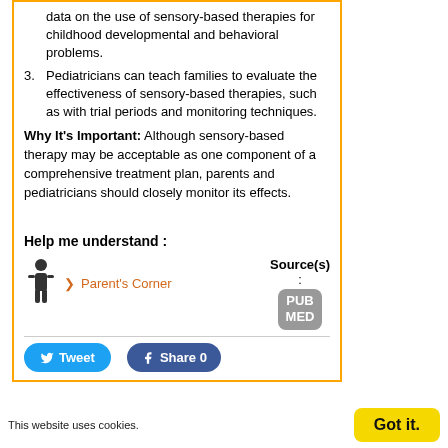data on the use of sensory-based therapies for childhood developmental and behavioral problems.
3. Pediatricians can teach families to evaluate the effectiveness of sensory-based therapies, such as with trial periods and monitoring techniques.
Why It's Important: Although sensory-based therapy may be acceptable as one component of a comprehensive treatment plan, parents and pediatricians should closely monitor its effects.
Help me understand :
[Figure (infographic): Parent's Corner link with a figure icon of a person (doctor/parent) and an arrow, accompanied by Source(s) label and a PubMed button]
Tweet | Share 0
This website uses cookies.